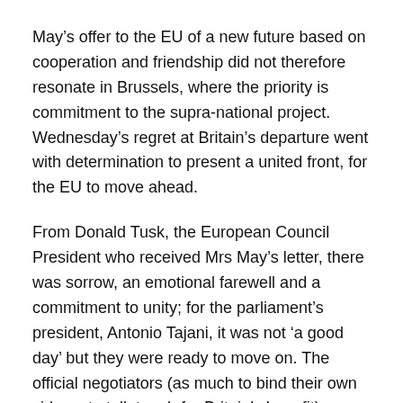May's offer to the EU of a new future based on cooperation and friendship did not therefore resonate in Brussels, where the priority is commitment to the supra-national project. Wednesday's regret at Britain's departure went with determination to present a united front, for the EU to move ahead.
From Donald Tusk, the European Council President who received Mrs May's letter, there was sorrow, an emotional farewell and a commitment to unity; for the parliament's president, Antonio Tajani, it was not 'a good day' but they were ready to move on. The official negotiators (as much to bind their own side as to talk tough for Britain's benefit) prepared the ground for what would come, warning of protracted discussions, the need to settle the terms of departure before discussing the future. For the EU's chief negotiator, Michel